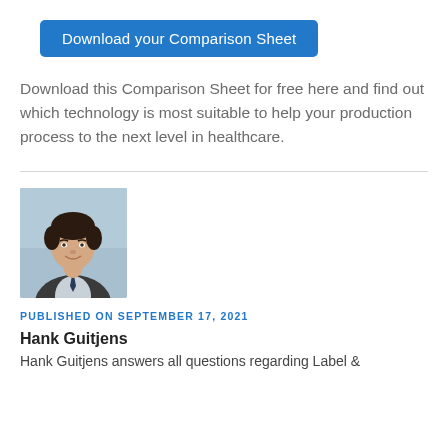[Figure (other): Blue button with text 'Download your Comparison Sheet']
Download this Comparison Sheet for free here and find out which technology is most suitable to help your production process to the next level in healthcare.
[Figure (photo): Professional headshot of a man in a suit with dark hair, smiling, light blue background]
PUBLISHED ON SEPTEMBER 17, 2021
Hank Guitjens
Hank Guitjens answers all questions regarding Label &